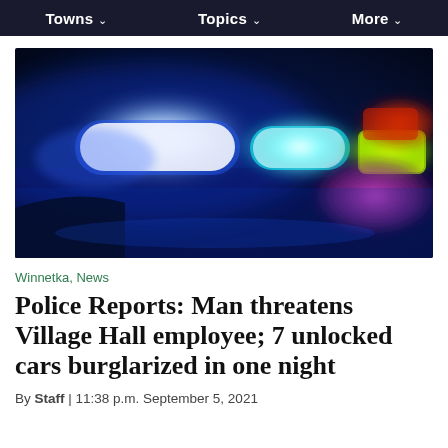Towns ∨   Topics ∨   More ∨
[Figure (photo): Close-up photo of police car emergency lights at night — blue, cyan, green, yellow, red/magenta colored lights glowing against a dark blue background]
Winnetka, News
Police Reports: Man threatens Village Hall employee; 7 unlocked cars burglarized in one night
By Staff | 11:38 p.m. September 5, 2021